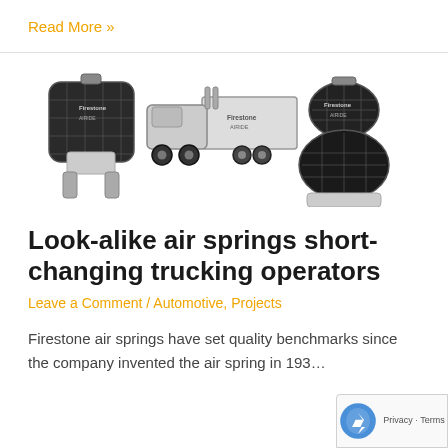Read More »
[Figure (photo): Three Firestone air spring product illustrations: a cross-section of a single air spring (left), a semi-truck with trailer (center), and a cluster of air springs (right). All shown in black and white.]
Look-alike air springs short-changing trucking operators
Leave a Comment / Automotive, Projects
Firestone air springs have set quality benchmarks since the company invented the air spring in 193…